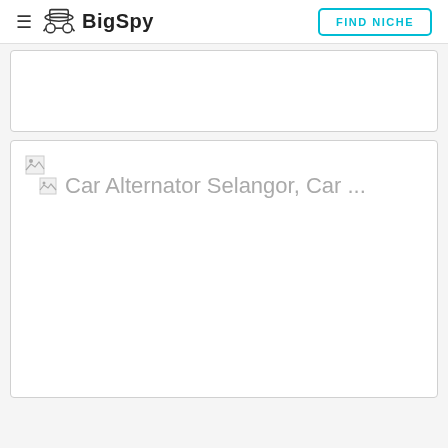BigSpy | FIND NICHE
[Figure (screenshot): Top portion of a card with blank white content area (ad card top section, content not visible)]
Car Alternator Selangor, Car ...
[Figure (screenshot): Bottom section of an ad card with a broken image placeholder in the top-left corner and a large blank white content area below]